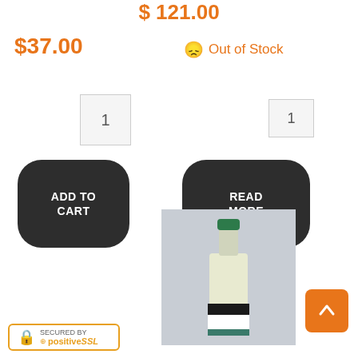$121.00 (partially cropped at top)
$37.00
Out of Stock
[Figure (other): Quantity input box with value 1 (left)]
[Figure (other): Quantity input box with value 1 (right)]
[Figure (other): Dark rounded button labeled ADD TO CART]
[Figure (other): Dark rounded button labeled READ MORE]
[Figure (photo): Photo of a white wine bottle with green cap and landscape label on light gray background]
[Figure (other): Orange scroll-to-top button with upward arrow]
[Figure (other): Secured by PositiveSSL badge]